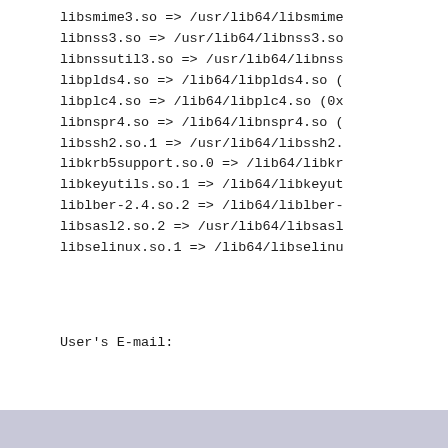libsmime3.so => /usr/lib64/libsmime
libnss3.so => /usr/lib64/libnss3.so
libnssutil3.so => /usr/lib64/libnss
libplds4.so => /lib64/libplds4.so (
libplc4.so => /lib64/libplc4.so (0x
libnspr4.so => /lib64/libnspr4.so (
libssh2.so.1 => /usr/lib64/libssh2.
libkrb5support.so.0 => /lib64/libkr
libkeyutils.so.1 => /lib64/libkeyut
liblber-2.4.so.2 => /lib64/liblber-
libsasl2.so.2 => /usr/lib64/libsasl
libselinux.so.1 => /lib64/libselinu
User's E-mail: